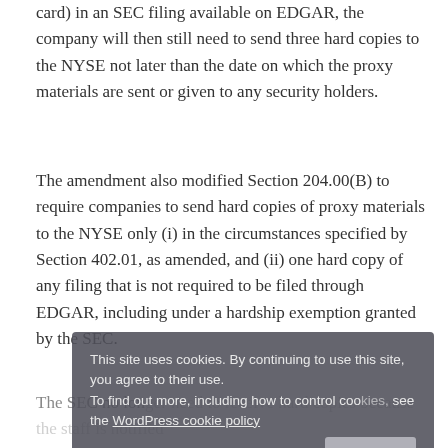card) in an SEC filing available on EDGAR, the company will then still need to send three hard copies to the NYSE not later than the date on which the proxy materials are sent or given to any security holders.
The amendment also modified Section 204.00(B) to require companies to send hard copies of proxy materials to the NYSE only (i) in the circumstances specified by Section 402.01, as amended, and (ii) one hard copy of any filing that is not required to be filed through EDGAR, including under a hardship exemption granted by the SEC.
The SEC no longer need to receive hard copies because the staff is notified when a listed company submits a filing to the SEC on
This site uses cookies. By continuing to use this site, you agree to their use.
To find out more, including how to control cookies, see the WordPress cookie policy
Accept